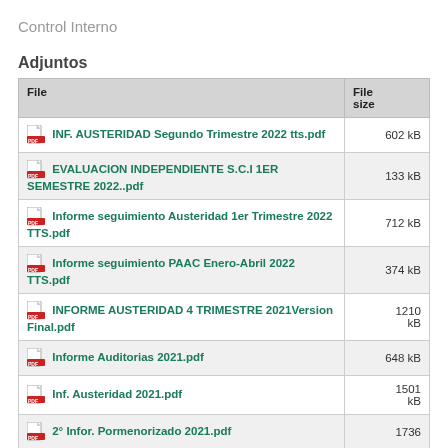Control Interno
Adjuntos
| File | File size |
| --- | --- |
| INF. AUSTERIDAD Segundo Trimestre 2022 tts.pdf | 602 kB |
| EVALUACION INDEPENDIENTE S.C.I 1ER SEMESTRE 2022..pdf | 133 kB |
| Informe seguimiento Austeridad 1er Trimestre 2022 TTS.pdf | 712 kB |
| Informe seguimiento PAAC Enero-Abril 2022 TTS.pdf | 374 kB |
| INFORME AUSTERIDAD 4 TRIMESTRE 2021Version Final.pdf | 1210 kB |
| Informe Auditorias 2021.pdf | 648 kB |
| Inf. Austeridad 2021.pdf | 1501 kB |
| 2° Infor. Pormenorizado 2021.pdf | 1736 |